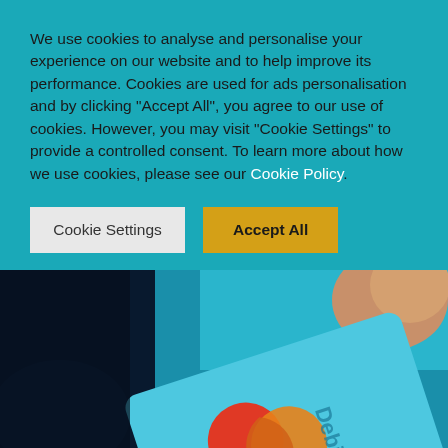We use cookies to analyse and personalise your experience on our website and to help improve its performance. Cookies are used for ads personalisation and by clicking "Accept All", you agree to our use of cookies. However, you may visit "Cookie Settings" to provide a controlled consent. To learn more about how we use cookies, please see our Cookie Policy.
Cookie Settings
Accept All
[Figure (photo): Close-up photo of a hand holding a light blue debit card with Mastercard logo (two overlapping circles in red and orange), showing the word 'Debit' on the card. Background is dark blue.]